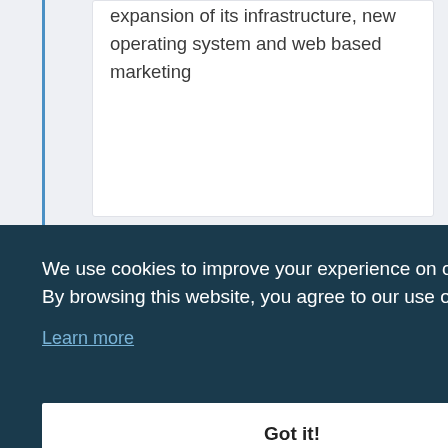expansion of its infrastructure, new operating system and web based marketing
2008
We use cookies to improve your experience on our website. By browsing this website, you agree to our use of cookies.
Learn more
Got it!